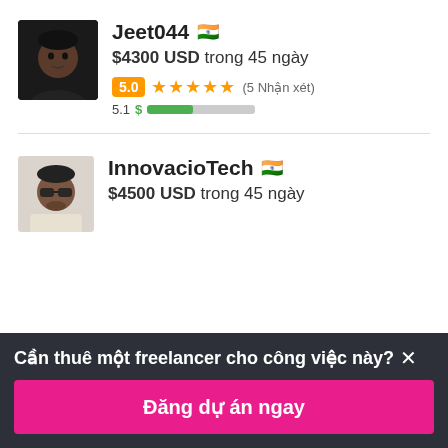[Figure (photo): Dark profile photo of user Jeet044, male, black background]
Jeet044 🇮🇳
$4300 USD trong 45 ngày
5.0 ★★★★★ (5 Nhận xét)
5.1 $ [progress bar]
[Figure (photo): Profile photo of user InnovacioTech, person with sunglasses, light background]
InnovacioTech 🇮🇳
$4500 USD trong 45 ngày
Cần thuê một freelancer cho công việc này? ×
Đăng dự án ngay